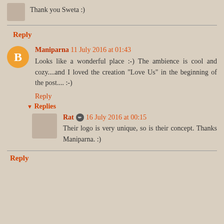Thank you Sweta :)
Reply
Maniparna 11 July 2016 at 01:43
Looks like a wonderful place :-) The ambience is cool and cozy....and I loved the creation "Love Us" in the beginning of the post.... :-)
Reply
Replies
Rat  16 July 2016 at 00:15
Their logo is very unique, so is their concept. Thanks Maniparna. :)
Reply